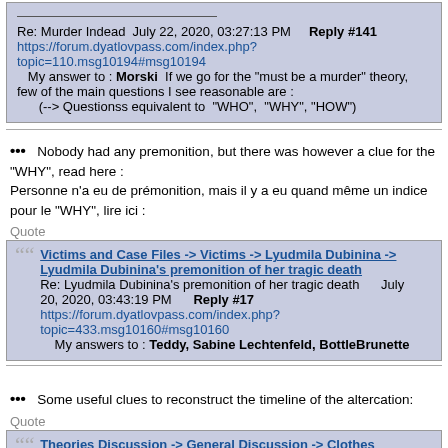Re: Murder Indead July 22, 2020, 03:27:13 PM  Reply #141
https://forum.dyatlovpass.com/index.php?topic=110.msg10194#msg10194
My answer to : Morski  If we go for the "must be a murder" theory, few of the main questions I see reasonable are :
(--> Questionss equivalent to  "WHO",  "WHY", "HOW")
••• Nobody had any premonition, but there was however a clue for the "WHY", read here :
Personne n’a eu de prémonition, mais il y a eu quand même un indice pour le "WHY", lire ici :
Quote
Victims and Case Files -> Victims -> Lyudmila Dubinina -> Lyudmila Dubinina's premonition of her tragic death
Re: Lyudmila Dubinina's premonition of her tragic death   July 20, 2020, 03:43:19 PM    Reply #17
https://forum.dyatlovpass.com/index.php?topic=433.msg10160#msg10160
My answers to : Teddy, Sabine Lechtenfeld, BottleBrunette
••• Some useful clues to reconstruct the timeline of the altercation:
Quote
Theories Discussion -> General Discussion -> Clothes
Vietnamka  March 26, 2019, 09:35:48 AM
https://forum.dyatlovpass.com/index.php?topic=396.msg4583#msg4583